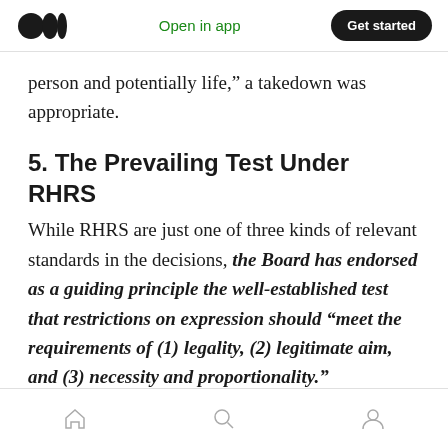Open in app | Get started
person and potentially life,” a takedown was appropriate.
5. The Prevailing Test Under RHRS
While RHRS are just one of three kinds of relevant standards in the decisions, the Board has endorsed as a guiding principle the well-established test that restrictions on expression should “meet the requirements of (1) legality, (2) legitimate aim, and (3) necessity and proportionality.”
Home | Search | Profile